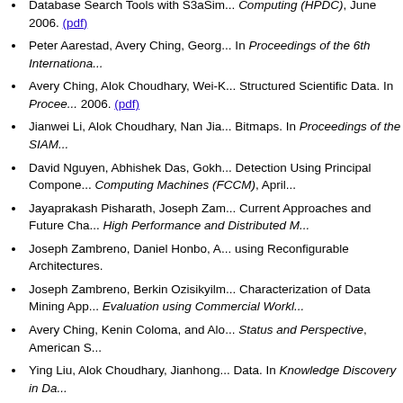Database Search Tools with S3aSim... Computing (HPDC), June 2006. (pdf)
Peter Aarestad, Avery Ching, Georg... In Proceedings of the 6th Internationa...
Avery Ching, Alok Choudhary, Wei-K... Structured Scientific Data. In Procee... 2006. (pdf)
Jianwei Li, Alok Choudhary, Nan Jia... Bitmaps. In Proceedings of the SIAM...
David Nguyen, Abhishek Das, Gokh... Detection Using Principal Compone... Computing Machines (FCCM), April...
Jayaprakash Pisharath, Joseph Zam... Current Approaches and Future Cha... High Performance and Distributed M...
Joseph Zambreno, Daniel Honbo, A... using Reconfigurable Architectures.
Joseph Zambreno, Berkin Ozisikyilm... Characterization of Data Mining App... Evaluation using Commercial Workl...
Avery Ching, Kenin Coloma, and Alo... Status and Perspective, American S...
Ying Liu, Alok Choudhary, Jianhong... Data. In Knowledge Discovery in Da...